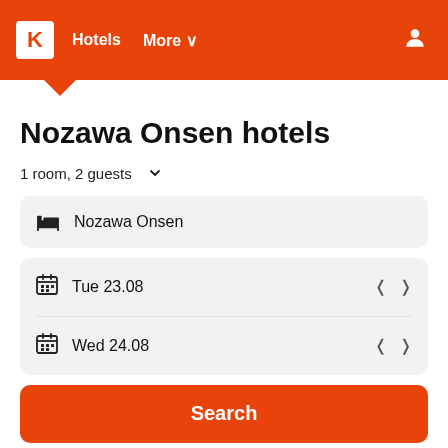K | Hotels  More ∨
Nozawa Onsen hotels
1 room, 2 guests ∨
Nozawa Onsen
Tue 23.08
Wed 24.08
Search
Search hundreds of travel sites at once for hotels in